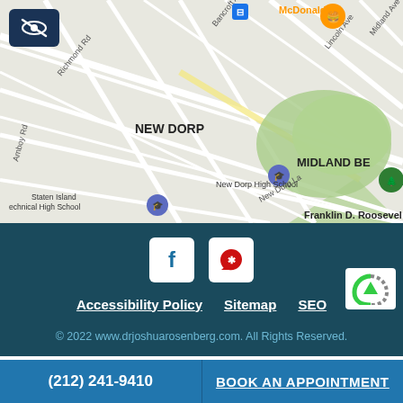[Figure (map): Google Maps view showing New Dorp neighborhood on Staten Island, NY. Visible landmarks include New Dorp High School, Staten Island Technical High School, Franklin D. Roosevelt area, Midland Beach, and a McDonald's. Street names include Richmond Rd, Bancroft Ave, Lincoln Ave, Midland Ave, Amboy Rd, and New Dorp La.]
[Figure (other): Accessibility hide/show toggle button with eye-slash icon in dark navy square, top left of map]
f
Yelp icon
Accessibility Policy   Sitemap   SEO
© 2022 www.drjoshuarosenberg.com. All Rights Reserved.
(212) 241-9410
BOOK AN APPOINTMENT